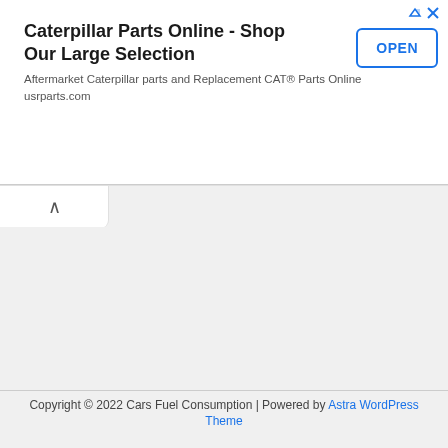[Figure (screenshot): Advertisement banner for Caterpillar Parts Online with title, subtitle, and OPEN button]
Copyright © 2022 Cars Fuel Consumption | Powered by Astra WordPress Theme